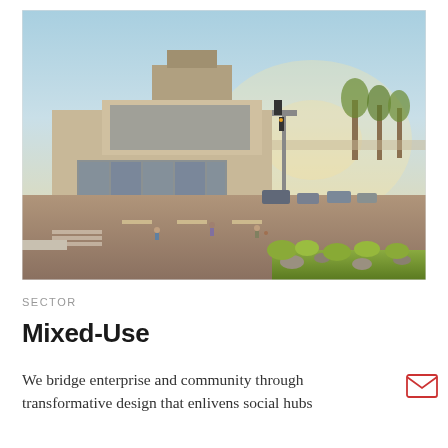[Figure (photo): Street-level photograph of a modern mixed-use building at an intersection, featuring glass facades and multilevel architecture with green landscaping in the foreground median, cars and pedestrians visible on the road, warm golden-hour lighting, palm trees in the background.]
SECTOR
Mixed-Use
We bridge enterprise and community through transformative design that enlivens social hubs